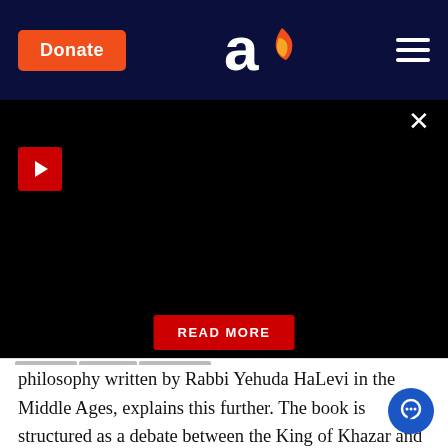[Figure (screenshot): Aish.com website header navigation bar with dark navy background, orange Donate button on the left, Aish logo (letter 'a' with flame) in the center, and hamburger menu on the right]
[Figure (screenshot): Black video player area with red play button on left and X close button on upper right, and a red READ MORE button at the bottom center]
philosophy written by Rabbi Yehuda HaLevi in the Middle Ages, explains this further. The book is structured as a debate between the King of Khazar and a great Torah sage. Rabbi Yehuda HaLevi writes that all people have good intentions and try and be spiritually connected, but that without the guidance on how to do it, it is impossible. A person who just wants to serve God by intuition, says Rabbi Yehuda HaLevi, is comparable to a fool who comes to a medicine cab of a doctor who is famous for his ability to heal the sick